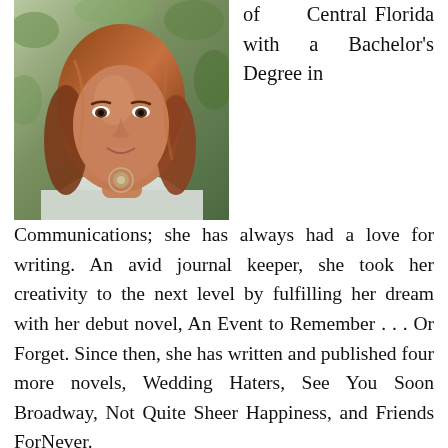[Figure (photo): Portrait photo of a woman with long reddish-brown hair wearing a light-colored blouse with a floral necklace, photographed outdoors with greenery in background]
of Central Florida with a Bachelor's Degree in Communications; she has always had a love for writing. An avid journal keeper, she took her creativity to the next level by fulfilling her dream with her debut novel, An Event to Remember . . . Or Forget. Since then, she has written and published four more novels, Wedding Haters, See You Soon Broadway, Not Quite Sheer Happiness, and Friends ForNever.
Melissa resides in Florida, with her husband and young daughter. When she isn't writing, this multi-tasking master organizer is busy being a mother, wife, chauffeur, PTA President, and Fitness Trainer.
When she has free time, she enjoys traveling, running,